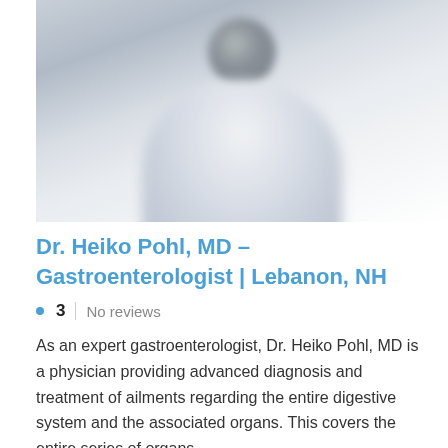[Figure (photo): Blurred photo of a doctor wearing a white coat, photographed against a light grey background, upper body visible.]
Dr. Heiko Pohl, MD – Gastroenterologist | Lebanon, NH
3   No reviews
As an expert gastroenterologist, Dr. Heiko Pohl, MD is a physician providing advanced diagnosis and treatment of ailments regarding the entire digestive system and the associated organs. This covers the entire series of organs